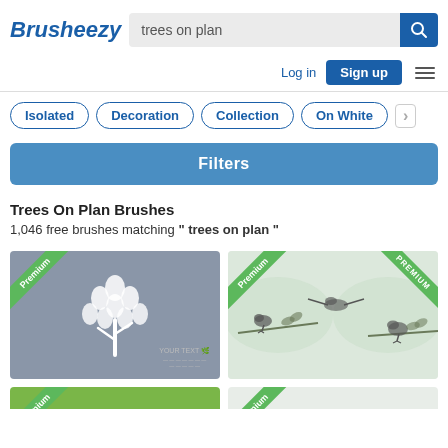Brusheezy
trees on plan
Log in  Sign up
Isolated
Decoration
Collection
On White
Filters
Trees On Plan Brushes
1,046 free brushes matching " trees on plan "
[Figure (photo): Premium tree illustration on grey background with white leaf tree graphic and 'YOUR TEXT' placeholder text]
[Figure (photo): Premium brush set showing bird sketches on branches with green watercolor background, with a second Premium ribbon in top right]